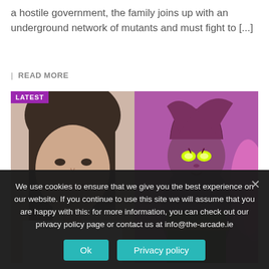a hostile government, the family joins up with an underground network of mutants and must fight to [...]
| READ MORE
[Figure (photo): Side-by-side image: left half shows a real woman with dark hair smiling, right half shows a comic book illustration of a female mutant character with glowing yellow eyes and pink energy. A 'LATEST' purple tag appears in the top-left corner.]
We use cookies to ensure that we give you the best experience on our website. If you continue to use this site we will assume that you are happy with this: for more information, you can check out our privacy policy page or contact us at info@the-arcade.ie